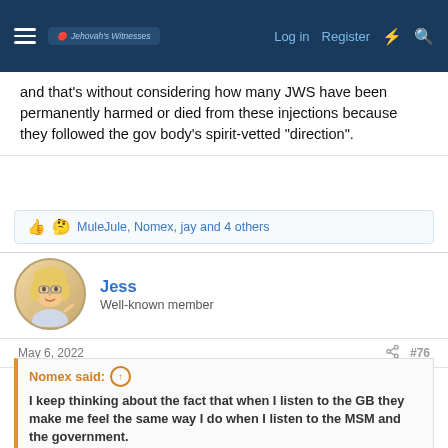Jehovah's Witnesses forum — Log in | Register
and that's without considering how many JWS have been permanently harmed or died from these injections because they followed the gov body's spirit-vetted “direction”.
MuleJule, Nomex, jay and 4 others
Jess
Well-known member
May 6, 2022
#76
Nomex said:
I keep thinking about the fact that when I listen to the GB they make me feel the same way I do when I listen to the MSM and the government.
When known liars lie to you, and they know you know they are lairs, yet they lie anyway, you know they truly have a wicked heart. If anyone has been paying attention for the last 20 years, to real media as in alternative media, and you spend even a tiny amount of time